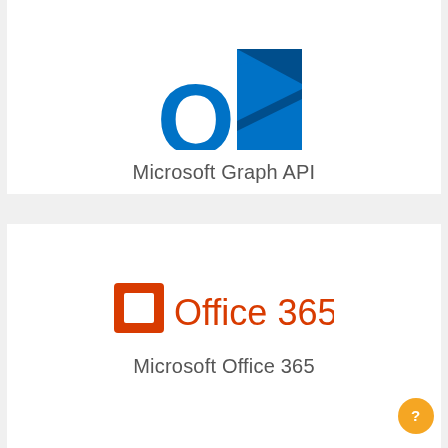[Figure (logo): Microsoft Outlook logo - blue square with O and envelope shape]
Microsoft Graph API
[Figure (logo): Microsoft Office 365 logo - orange square with notch and Office 365 text in orange]
Microsoft Office 365